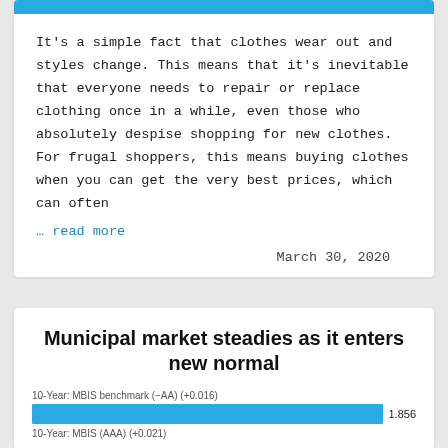It's a simple fact that clothes wear out and styles change. This means that it's inevitable that everyone needs to repair or replace clothing once in a while, even those who absolutely despise shopping for new clothes. For frugal shoppers, this means buying clothes when you can get the very best prices, which can often
… read more
March 30, 2020
Municipal market steadies as it enters new normal
[Figure (bar-chart): 10-Year: MBIS benchmark (−AA) (+0.016)]
10-Year: MBIS (AAA) (+0.021)